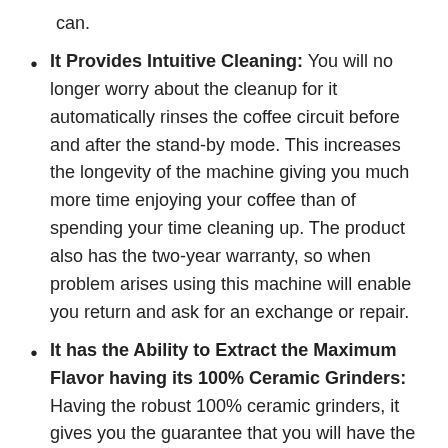can.
It Provides Intuitive Cleaning: You will no longer worry about the cleanup for it automatically rinses the coffee circuit before and after the stand-by mode. This increases the longevity of the machine giving you much more time enjoying your coffee than of spending your time cleaning up. The product also has the two-year warranty, so when problem arises using this machine will enable you return and ask for an exchange or repair.
It has the Ability to Extract the Maximum Flavor having its 100% Ceramic Grinders: Having the robust 100% ceramic grinders, it gives you the guarantee that you will have the pure coffee indulgence for the years to come. Its ceramic material is creating the ideal grind that allows the water to flow through steadily, which extracts the